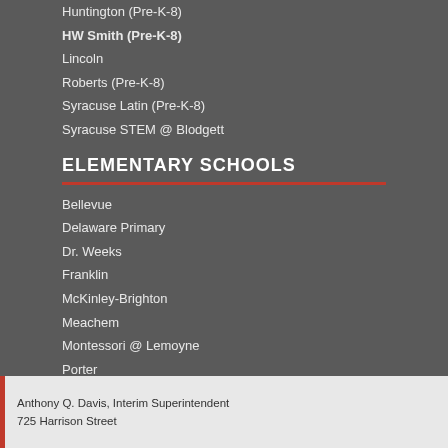Huntington (Pre-K-8)
HW Smith (Pre-K-8)
Lincoln
Roberts (Pre-K-8)
Syracuse Latin (Pre-K-8)
Syracuse STEM @ Blodgett
ELEMENTARY SCHOOLS
Bellevue
Delaware Primary
Dr. Weeks
Franklin
McKinley-Brighton
Meachem
Montessori @ Lemoyne
Porter
Salem Hyde
Seymour Dual Language Academy
STEAM @ Dr. King
Van Duyn
Webster
Anthony Q. Davis, Interim Superintendent
725 Harrison Street